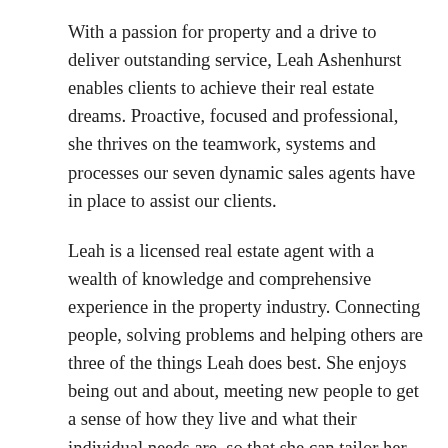With a passion for property and a drive to deliver outstanding service, Leah Ashenhurst enables clients to achieve their real estate dreams. Proactive, focused and professional, she thrives on the teamwork, systems and processes our seven dynamic sales agents have in place to assist our clients.
Leah is a licensed real estate agent with a wealth of knowledge and comprehensive experience in the property industry. Connecting people, solving problems and helping others are three of the things Leah does best. She enjoys being out and about, meeting new people to get a sense of how they live and what their individual needs are, so that she can tailor her service specifically to those needs.
Leah has lived in Mullumbimby the past 15 years and loves everything about this community. From the choice